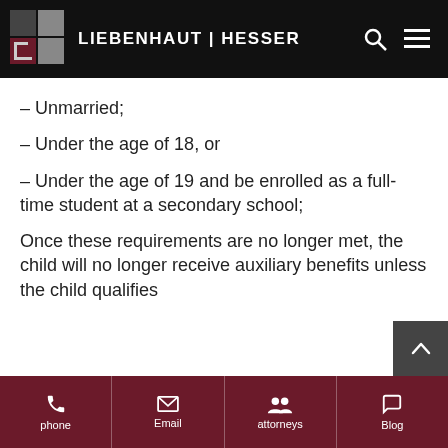LIEBENHAUT | HESSER
– Unmarried;
– Under the age of 18, or
– Under the age of 19 and be enrolled as a full-time student at a secondary school;
Once these requirements are no longer met, the child will no longer receive auxiliary benefits unless the child qualifies
phone | Email | attorneys | Blog